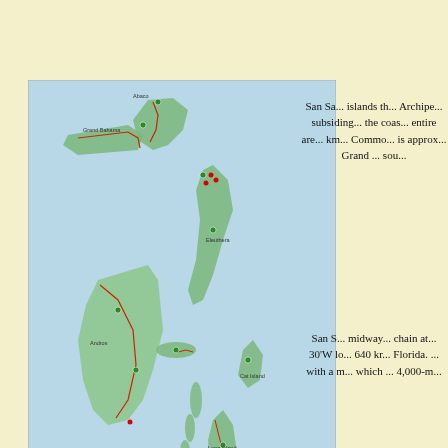[Figure (map): Map of the Bahamas Archipelago showing islands, coastlines, roads, and settlements rendered in light blue water with green land masses and red road markings.]
Map of the Bahamas Archipelago
San Sa... islands th... Archipe... subsiding... the coas... entire are... km... Commo... is approx... Grand ... sou...
San S... midway... chain at... 30'W lo... 640 kr... Florida. ... with a n... which ... 4,000-m...